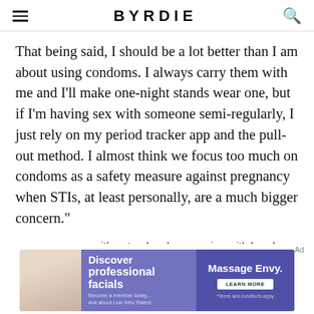BYRDIE
That being said, I should be a lot better than I am about using condoms. I always carry them with me and I'll make one-night stands wear one, but if I'm having sex with someone semi-regularly, I just rely on my period tracker app and the pull-out method. I almost think we focus too much on condoms as a safety measure against pregnancy when STIs, at least personally, are a much bigger concern."
[Figure (photo): woman with natural makeup posing with hand on face]
woman with natural makeup posing with hand on face
[Figure (other): Advertisement banner: Discover professional facials - Massage Envy. Become a member today... Ask about Low Intro Rates! Learn More. Terms and conditions apply.]